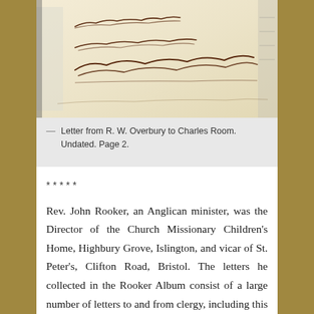[Figure (photo): Photograph of a handwritten letter page signed by R. W. Overbury, showing cursive script on aged paper]
— Letter from R. W. Overbury to Charles Room. Undated. Page 2.
*****
Rev. John Rooker, an Anglican minister, was the Director of the Church Missionary Children's Home, Highbury Grove, Islington, and vicar of St. Peter's, Clifton Road, Bristol. The letters he collected in the Rooker Album consist of a large number of letters to and from clergy, including this letter from Brooks Foss Westcott, biblical scholar